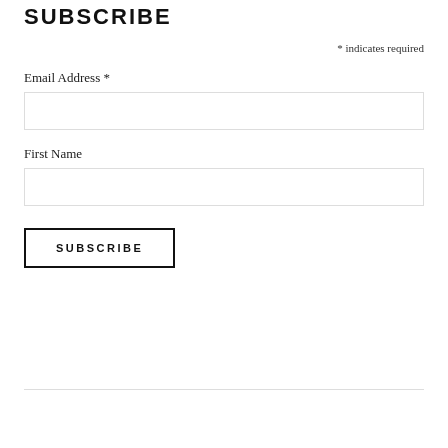SUBSCRIBE
* indicates required
Email Address *
First Name
SUBSCRIBE